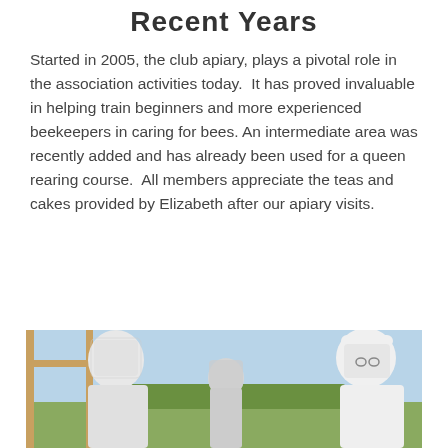Recent Years
Started in 2005, the club apiary, plays a pivotal role in the association activities today.  It has proved invaluable in helping train beginners and more experienced beekeepers in caring for bees.  An intermediate area was recently added and has already been used for a queen rearing course.  All members appreciate the teas and cakes provided by Elizabeth after our apiary visits.
[Figure (photo): Three beekeepers in white protective suits and veiled hats standing outdoors at an apiary on a sunny day. Wooden hive frames visible in the foreground.]